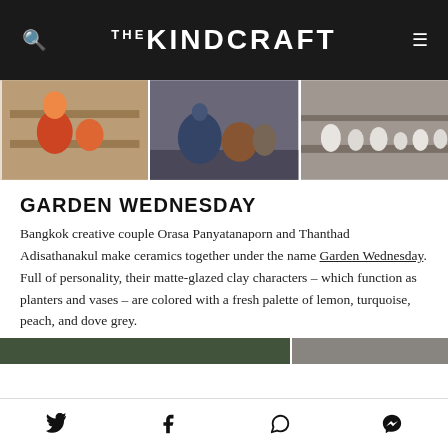THE KINDCRAFT
[Figure (photo): Three-panel photo strip showing ceramic pottery and clay figures displayed on wooden shelves]
GARDEN WEDNESDAY
Bangkok creative couple Orasa Panyatanaporn and Thanthad Adisathanakul make ceramics together under the name Garden Wednesday. Full of personality, their matte-glazed clay characters – which function as planters and vases – are colored with a fresh palette of lemon, turquoise, peach, and dove grey.
[Figure (photo): Partial bottom photo strip visible at bottom of article area]
Social share icons: Twitter, Facebook, WhatsApp, Messenger